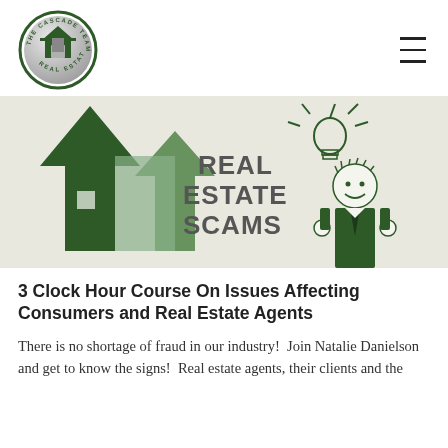[Figure (logo): The Cascade Team Real Estate circular logo with house/roof icon in dark green and silver]
[Figure (illustration): Real Estate Scams banner illustration with green house arrows on left and cartoon businessman with lightbulb on right, text reads REAL ESTATE SCAMS]
3 Clock Hour Course On Issues Affecting Consumers and Real Estate Agents
There is no shortage of fraud in our industry!  Join Natalie Danielson and get to know the signs!  Real estate agents, their clients and the